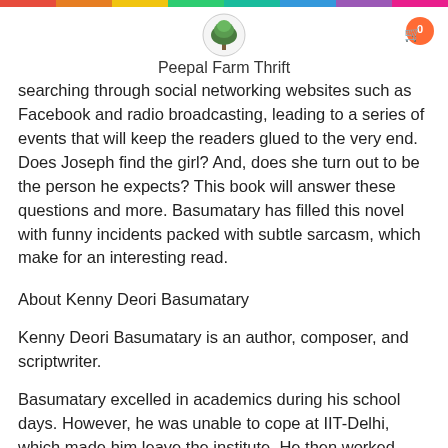Peepal Farm Thrift
searching through social networking websites such as Facebook and radio broadcasting, leading to a series of events that will keep the readers glued to the very end. Does Joseph find the girl? And, does she turn out to be the person he expects? This book will answer these questions and more. Basumatary has filled this novel with funny incidents packed with subtle sarcasm, which make for an interesting read.
About Kenny Deori Basumatary
Kenny Deori Basumatary is an author, composer, and scriptwriter.
Basumatary excelled in academics during his school days. However, he was unable to cope at IIT-Delhi, which made him leave the institute. He then worked